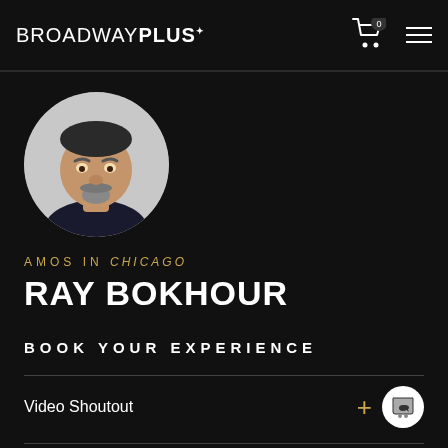BROADWAYPLUS
[Figure (photo): Circular headshot photo of Ray Bokhour, a middle-aged man with salt-and-pepper goatee, wearing a dark shirt, against a light background.]
AMOS IN CHICAGO
RAY BOKHOUR
BOOK YOUR EXPERIENCE
Video Shoutout